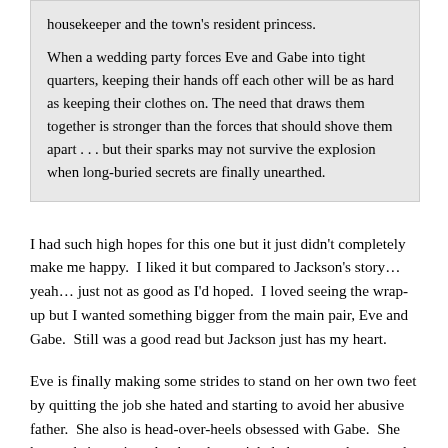housekeeper and the town's resident princess. When a wedding party forces Eve and Gabe into tight quarters, keeping their hands off each other will be as hard as keeping their clothes on. The need that draws them together is stronger than the forces that should shove them apart . . . but their sparks may not survive the explosion when long-buried secrets are finally unearthed.
I had such high hopes for this one but it just didn't completely make me happy.  I liked it but compared to Jackson's story…  yeah… just not as good as I'd hoped.  I loved seeing the wrap-up but I wanted something bigger from the main pair, Eve and Gabe.  Still was a good read but Jackson just has my heart.
Eve is finally making some strides to stand on her own two feet by quitting the job she hated and starting to avoid her abusive father.  She also is head-over-heels obsessed with Gabe.  She knows he's not in to her but she can't help but try to be around him any way she can.  I felt for her as we go thru this book because what she was subjected to as a